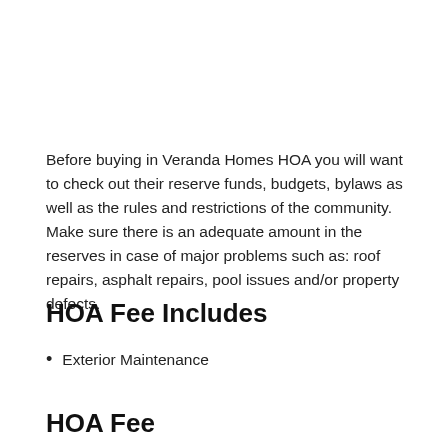Before buying in Veranda Homes HOA you will want to check out their reserve funds, budgets, bylaws as well as the rules and restrictions of the community. Make sure there is an adequate amount in the reserves in case of major problems such as: roof repairs, asphalt repairs, pool issues and/or property defects.
HOA Fee Includes
Exterior Maintenance
HOA Fee